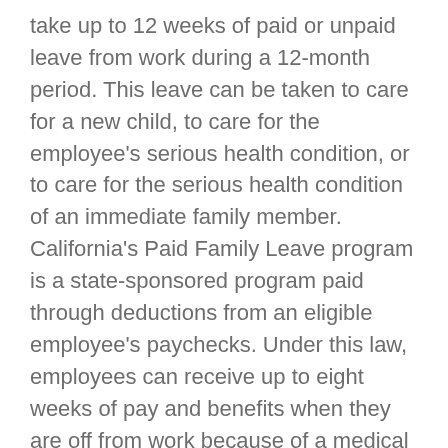take up to 12 weeks of paid or unpaid leave from work during a 12-month period. This leave can be taken to care for a new child, to care for the employee's serious health condition, or to care for the serious health condition of an immediate family member. California's Paid Family Leave program is a state-sponsored program paid through deductions from an eligible employee's paychecks. Under this law, employees can receive up to eight weeks of pay and benefits when they are off from work because of a medical condition. However, leave under this law is not job-protected.
It is important to understand your rights under federal and California laws. Knowing